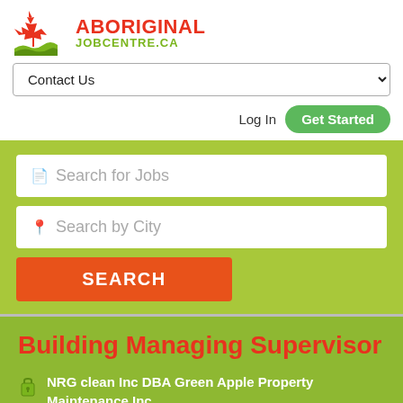[Figure (logo): Aboriginal JobCentre.ca logo with red maple leaf and green wave graphic]
Contact Us
Log In
Get Started
fl Search for Jobs
Search by City
SEARCH
Building Managing Supervisor
NRG clean Inc DBA Green Apple Property Maintenance Inc.